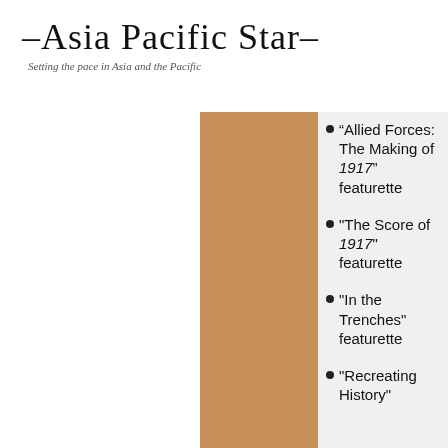–Asia Pacific Star–
Setting the pace in Asia and the Pacific
[Figure (photo): Tan/brown colored vertical rectangular image block]
"Allied Forces: The Making of 1917" featurette
"The Score of 1917" featurette
"In the Trenches" featurette
"Recreating History"